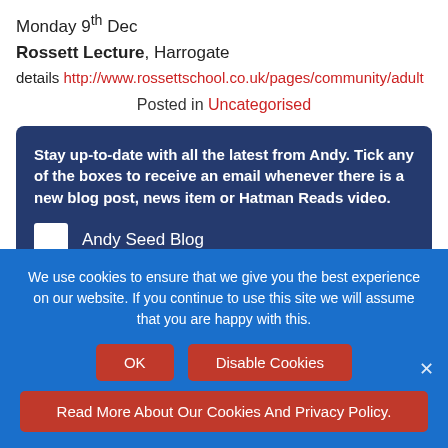Monday 9th Dec
Rossett Lecture, Harrogate
details http://www.rossettschool.co.uk/pages/community/adult
Posted in Uncategorised
Stay up-to-date with all the latest from Andy. Tick any of the boxes to receive an email whenever there is a new blog post, news item or Hatman Reads video.
Andy Seed Blog
Andy Seed News
We use cookies to ensure that we give you the best experience on our website. If you continue to use this site we will assume that you are happy with this.